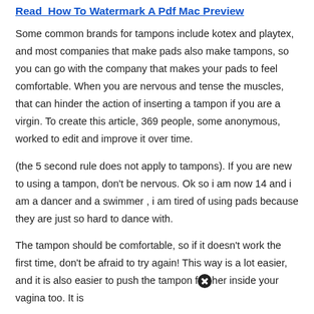Read  How To Watermark A Pdf Mac Preview
Some common brands for tampons include kotex and playtex, and most companies that make pads also make tampons, so you can go with the company that makes your pads to feel comfortable. When you are nervous and tense the muscles, that can hinder the action of inserting a tampon if you are a virgin. To create this article, 369 people, some anonymous, worked to edit and improve it over time.
(the 5 second rule does not apply to tampons). If you are new to using a tampon, don't be nervous. Ok so i am now 14 and i am a dancer and a swimmer , i am tired of using pads because they are just so hard to dance with.
The tampon should be comfortable, so if it doesn't work the first time, don't be afraid to try again! This way is a lot easier, and it is also easier to push the tampon f[X]her inside your vagina too. It is